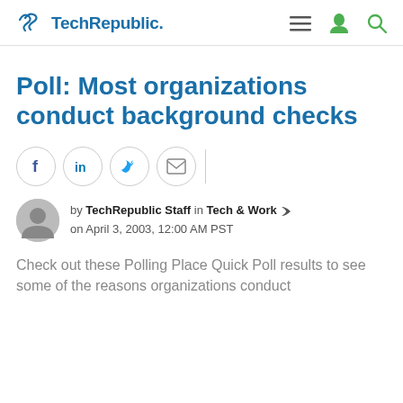TechRepublic
Poll: Most organizations conduct background checks
[Figure (other): Social sharing buttons: Facebook, LinkedIn, Twitter, Email]
by TechRepublic Staff in Tech & Work on April 3, 2003, 12:00 AM PST
Check out these Polling Place Quick Poll results to see some of the reasons organizations conduct